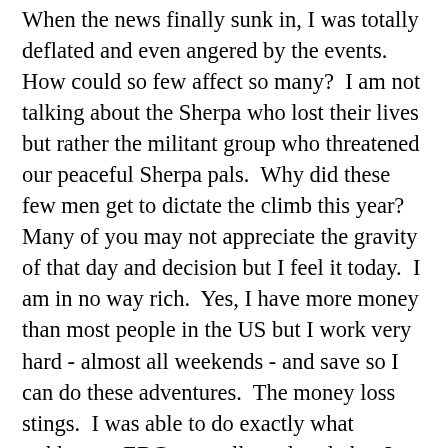When the news finally sunk in, I was totally deflated and even angered by the events.  How could so few affect so many?  I am not talking about the Sherpa who lost their lives but rather the militant group who threatened our peaceful Sherpa pals.  Why did these few men get to dictate the climb this year?  Many of you may not appreciate the gravity of that day and decision but I feel it today.  I am in no way rich.  Yes, I have more money than most people in the US but I work very hard - almost all weekends - and save so I can do these adventures.  The money loss stings.  I was able to do exactly what trekkers to EBC were allowed to do but I paid 10 times the rate for a trek.  The government and expedition leaders got paid their full share and I felt the situation required a different, more equitable share in the loss.  We paid for oxygen bottles at $500/bottle, food that would be stored for next year, Sherpa who stood in camp with us, and leaders who went home early.  Why were we left to foot the bill for all those goods and services?